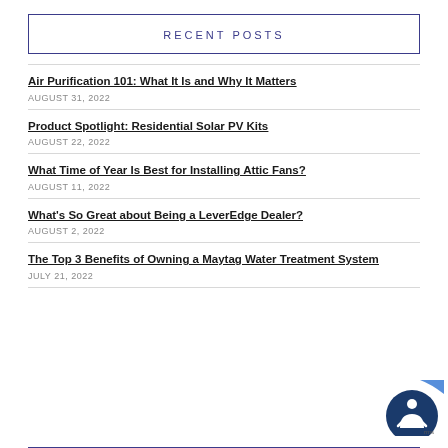RECENT POSTS
Air Purification 101: What It Is and Why It Matters
AUGUST 31, 2022
Product Spotlight: Residential Solar PV Kits
AUGUST 22, 2022
What Time of Year Is Best for Installing Attic Fans?
AUGUST 11, 2022
What's So Great about Being a LeverEdge Dealer?
AUGUST 2, 2022
The Top 3 Benefits of Owning a Maytag Water Treatment System
JULY 21, 2022
[Figure (illustration): Accessibility badge icon with person figure and blue arrow]